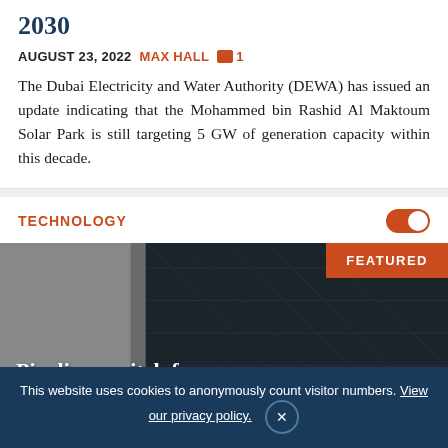2030
AUGUST 23, 2022  MAX HALL  1
The Dubai Electricity and Water Authority (DEWA) has issued an update indicating that the Mohammed bin Rashid Al Maktoum Solar Park is still targeting 5 GW of generation capacity within this decade.
TECHNOLOGY
[Figure (photo): Solar panel close-up photograph showing dark photovoltaic cells with grid lines, partially obscured by a gray element on the left. A red FEATURED badge appears in the top right corner. Bold white text overlay reads: Pipelines switch from p-type]
Pipelines switch from p-type
This website uses cookies to anonymously count visitor numbers. View our privacy policy.